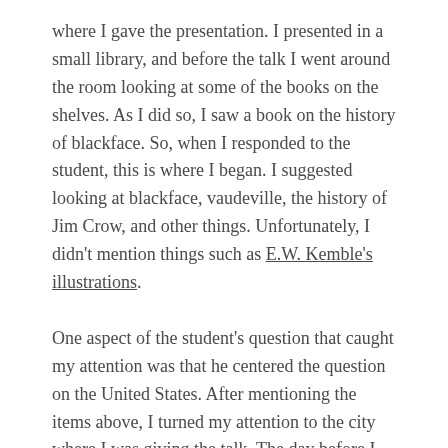where I gave the presentation. I presented in a small library, and before the talk I went around the room looking at some of the books on the shelves. As I did so, I saw a book on the history of blackface. So, when I responded to the student, this is where I began. I suggested looking at blackface, vaudeville, the history of Jim Crow, and other things. Unfortunately, I didn't mention things such as E.W. Kemble's illustrations.
One aspect of the student's question that caught my attention was that he centered the question on the United States. After mentioning the items above, I turned my attention to the city where I was giving the talk. The day before I went to the Muzeum Narodwe w Warszawie and spent a couple of hours walking around and seeing countless pieces of art from paintings and sculptures to triptychs and